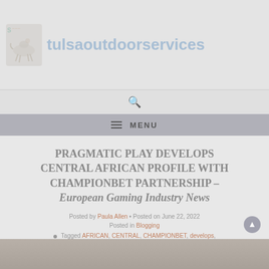tulsaoutdoorservices
PRAGMATIC PLAY DEVELOPS CENTRAL AFRICAN PROFILE WITH CHAMPIONBET PARTNERSHIP – European Gaming Industry News
Posted by Paula Allen • Posted on June 22, 2022
Posted in Blogging
Tagged AFRICAN, CENTRAL, CHAMPIONBET, develops, European, Gaming, Industry, News, partnership, PLAY, PRAGMATIC, Profile